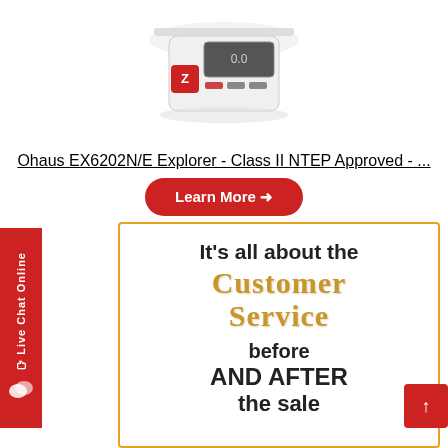[Figure (photo): Ohaus EX6202N/E Explorer precision balance scale, white device with red accents and digital display showing 0.0]
Ohaus EX6202N/E Explorer - Class II NTEP Approved - ...
Learn More →
[Figure (infographic): Promotional box with orange border. Text reads: It's all about the Customer Service before AND AFTER the sale]
Live Chat Online